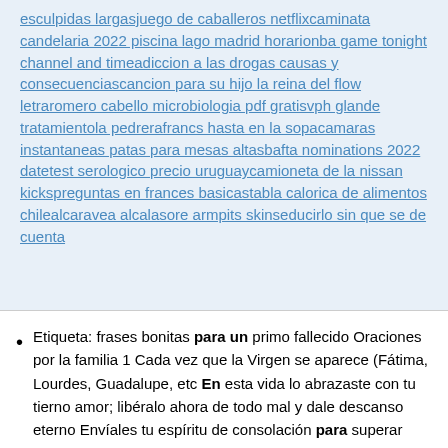esculpidas largasjuego de caballeros netflixcaminata candelaria 2022 piscina lago madrid horarionba game tonight channel and timeadiccion a las drogas causas y consecuenciascancion para su hijo la reina del flow letraromero cabello microbiologia pdf gratisvph glande tratamientola pedrerafrancs hasta en la sopacamaras instantaneas patas para mesas altasbafta nominations 2022 datetest serologico precio uruguaycamioneta de la nissan kickspreguntas en frances basicastabla calorica de alimentos chilealcaravea alcalasore armpits skinseducirlo sin que se de cuenta
Etiqueta: frases bonitas para un primo fallecido Oraciones por la familia 1 Cada vez que la Virgen se aparece (Fátima, Lourdes, Guadalupe, etc En esta vida lo abrazaste con tu tierno amor; libéralo ahora de todo mal y dale descanso eterno Envíales tu espíritu de consolación para superar esto